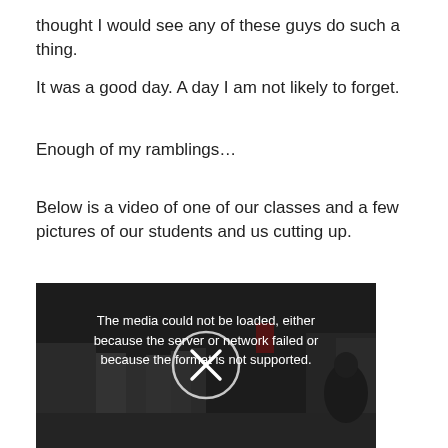thought I would see any of these guys do such a thing.
It was a good day. A day I am not likely to forget.
Enough of my ramblings…
Below is a video of one of our classes and a few pictures of our students and us cutting up.
[Figure (screenshot): Embedded video player showing an error message: 'The media could not be loaded, either because the server or network failed or because the format is not supported.' with an X button overlaid on a dark background showing a blurry classroom scene.]